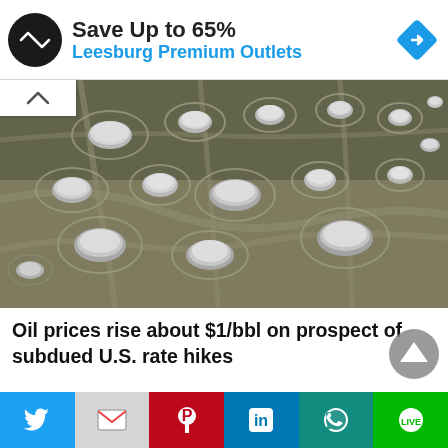[Figure (infographic): Advertisement banner: Save Up to 65% Leesburg Premium Outlets with logo and navigation icon]
[Figure (photo): Aerial photograph of oil storage tanks viewed from above, showing multiple large circular white-roofed tanks scattered across a brownish landscape with access roads and containment berms]
Oil prices rise about $1/bbl on prospect of subdued U.S. rate hikes
[Figure (infographic): Social sharing bar with Twitter, Gmail, Pinterest, LinkedIn, WhatsApp, and LINE buttons]